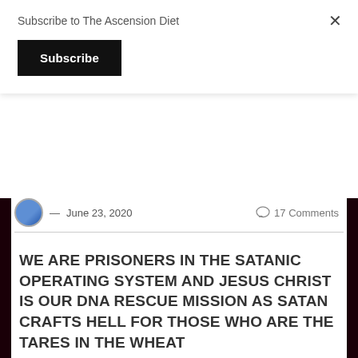Subscribe to The Ascension Diet
Subscribe
— June 23, 2020
17 Comments
WE ARE PRISONERS IN THE SATANIC OPERATING SYSTEM AND JESUS CHRIST IS OUR DNA RESCUE MISSION AS SATAN CRAFTS HELL FOR THOSE WHO ARE THE TARES IN THE WHEAT
Share this: